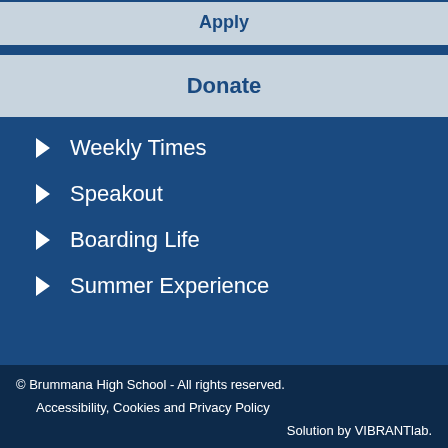Apply
Donate
Weekly Times
Speakout
Boarding Life
Summer Experience
© Brummana High School - All rights reserved.
Accessibility, Cookies and Privacy Policy
Solution by VIBRANTlab.